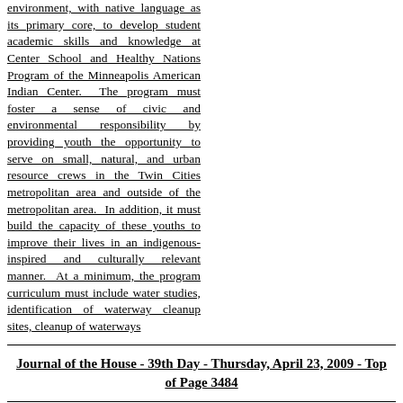environment, with native language as its primary core, to develop student academic skills and knowledge at Center School and Healthy Nations Program of the Minneapolis American Indian Center. The program must foster a sense of civic and environmental responsibility by providing youth the opportunity to serve on small, natural, and urban resource crews in the Twin Cities metropolitan area and outside of the metropolitan area. In addition, it must build the capacity of these youths to improve their lives in an indigenous-inspired and culturally relevant manner. At a minimum, the program curriculum must include water studies, identification of waterway cleanup sites, cleanup of waterways
Journal of the House - 39th Day - Thursday, April 23, 2009 - Top of Page 3484
significant to indigenous culture and education, plant identification, gardening, and